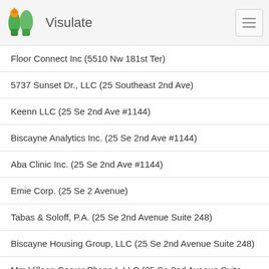Visulate
Floor Connect Inc (5510 Nw 181st Ter)
5737 Sunset Dr., LLC (25 Southeast 2nd Ave)
Keenn LLC (25 Se 2nd Ave #1144)
Biscayne Analytics Inc. (25 Se 2nd Ave #1144)
Aba Clinic Inc. (25 Se 2nd Ave #1144)
Emie Corp. (25 Se 2 Avenue)
Tabas & Soloff, P.A. (25 Se 2nd Avenue Suite 248)
Biscayne Housing Group, LLC (25 Se 2nd Avenue Suite 248)
Mm Village Carver Phase I, LLC (25 Se 2nd Avenue Suite 248)
Mm Villa Patricia Phase Iii, LLC (25 Se 2nd Avenue Suite 248)